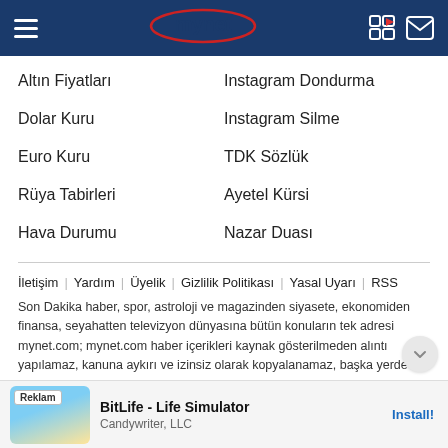mynet
Altın Fiyatları
Instagram Dondurma
Dolar Kuru
Instagram Silme
Euro Kuru
TDK Sözlük
Rüya Tabirleri
Ayetel Kürsi
Hava Durumu
Nazar Duası
İletişim | Yardım | Üyelik | Gizlilik Politikası | Yasal Uyarı | RSS
Son Dakika haber, spor, astroloji ve magazinden siyasete, ekonomiden finansa, seyahatten televizyon dünyasına bütün konuların tek adresi mynet.com; mynet.com haber içerikleri kaynak gösterilmeden alıntı yapılamaz, kanuna aykırı ve izinsiz olarak kopyalanamaz, başka yerde yayınlanamaz.
[Figure (other): Advertisement banner: BitLife - Life Simulator by Candywriter, LLC with Install button]